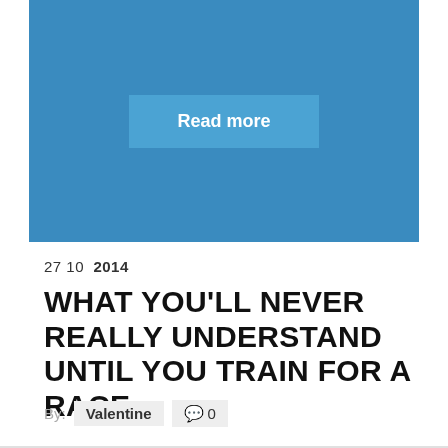[Figure (illustration): Blue rectangular image placeholder with a 'Read more' button centered in the lower portion]
27 10 2014
WHAT YOU'LL NEVER REALLY UNDERSTAND UNTIL YOU TRAIN FOR A RACE
By: Valentine  💬 0